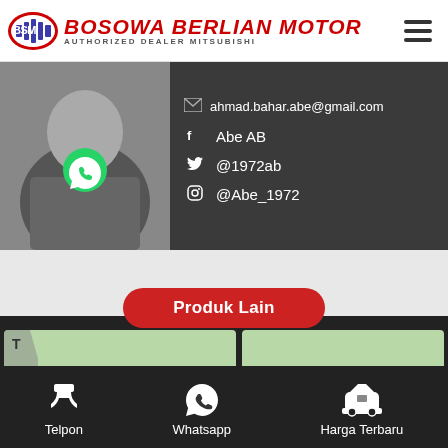[Figure (logo): Bosowa Berlian Motor logo with BSM oval badge and red bold italic brand name, subtitle AUTHORIZED DEALER MITSUBISHI]
[Figure (photo): Profile photo of a person wearing a t-shirt with a WhatsApp green circle logo visible]
ahmad.bahar.abe@gmail.com
Abe AB
@1972ab
@Abe_1972
Produk Lain
Telpon
Whatsapp
Harga Terbaru